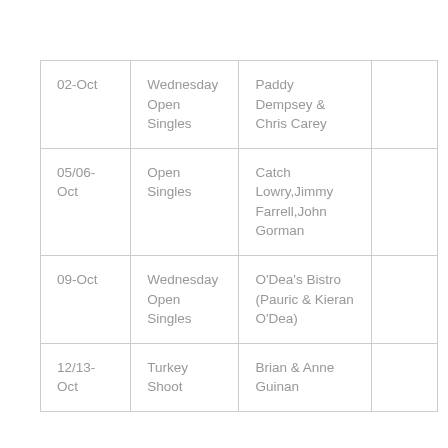| 02-Oct | Wednesday Open Singles | Paddy Dempsey & Chris Carey |  |
| 05/06-Oct | Open Singles | Catch Lowry,Jimmy Farrell,John Gorman |  |
| 09-Oct | Wednesday Open Singles | O'Dea's Bistro (Pauric & Kieran O'Dea) |  |
| 12/13-Oct | Turkey Shoot | Brian & Anne Guinan |  |